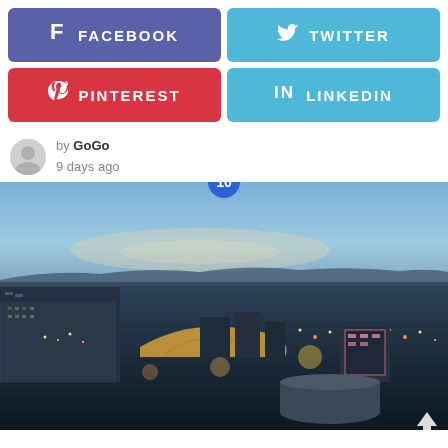[Figure (infographic): Social share buttons: Facebook (purple-blue), Twitter (light blue), Pinterest (red), LinkedIn (light blue) in a 2x2 grid]
by GoGo
9 days ago
[Figure (photo): Aerial night/dusk cityscape view of a city with buildings, city lights, and a twilight sky. Badge with number 10 overlaid at top center.]